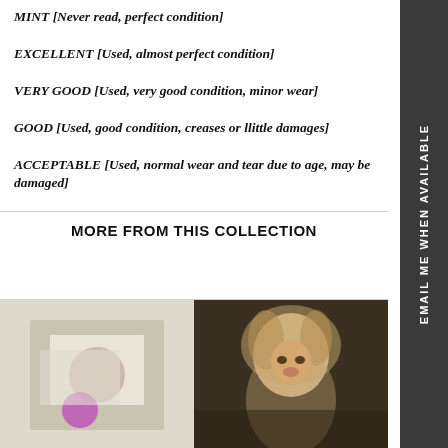MINT [Never read, perfect condition]
EXCELLENT [Used, almost perfect condition]
VERY GOOD [Used, very good condition, minor wear]
GOOD [Used, good condition, creases or llittle damages]
ACCEPTABLE [Used, normal wear and tear due to age, may be damaged]
MORE FROM THIS COLLECTION
[Figure (photo): Product photo placeholder on left]
[Figure (photo): Photo of a woman with curly blonde hair on right]